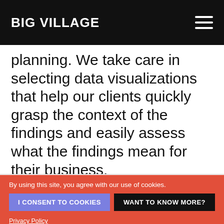BIG ViLLAGE
planning. We take care in selecting data visualizations that help our clients quickly grasp the context of the findings and easily assess what the findings mean for their business.
By using this site, you agree with our use of cookies.
I CONSENT TO COOKIES
WANT TO KNOW MORE?
Privacy Policy